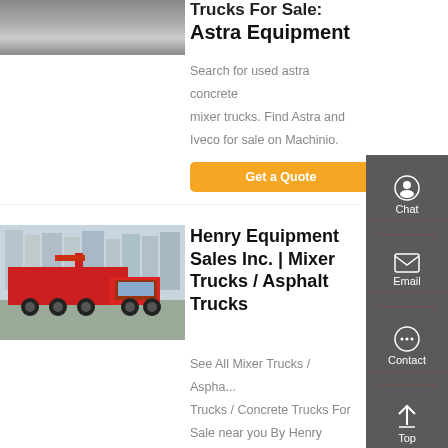[Figure (photo): Truck/vehicle image at top left]
Trucks For Sale: Astra Equipment
Search for used astra concrete mixer trucks. Find Astra and Iveco for sale on Machinio.
Get a Quote
[Figure (photo): Red dump truck parked on street with buildings in background]
Henry Equipment Sales Inc. | Mixer Trucks / Asphalt Trucks
See All Mixer Trucks / Asphalt Trucks / Concrete Trucks For Sale near you By Henry Equipment Sales Inc., 23188